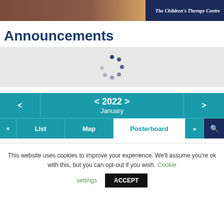[Figure (photo): Website header banner showing a child with an adult in brown/orange tones, with 'The Children's Therapy Centre' branding in white text on dark navy right side]
Announcements
[Figure (other): Loading spinner graphic — circular arrangement of dark navy dots on light gray background]
< 2022 > January
« List Map Posterboard » 🔍
This website uses cookies to improve your experience. We'll assume you're ok with this, but you can opt-out if you wish. Cookie settings ACCEPT